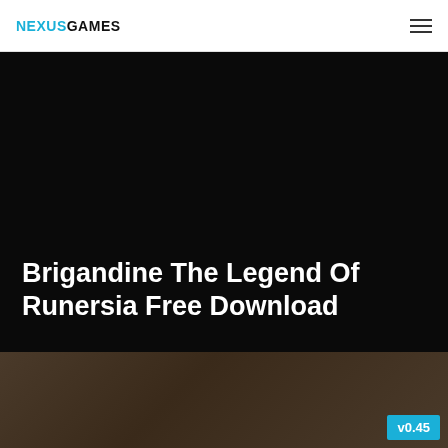NEXUSGAMES
Brigandine The Legend Of Runersia Free Download
[Figure (photo): Dark hero banner image with black background showing the game title area, and below a partial photo of two blonde individuals with a version badge v0.45 in cyan.]